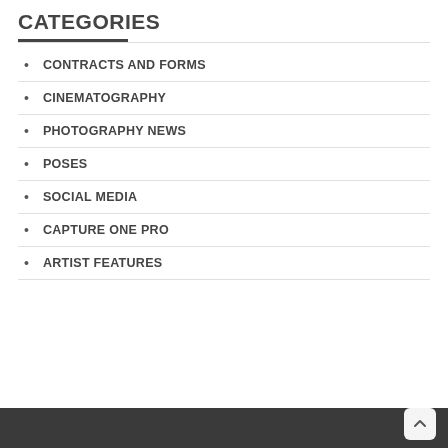CATEGORIES
CONTRACTS AND FORMS
CINEMATOGRAPHY
PHOTOGRAPHY NEWS
POSES
SOCIAL MEDIA
CAPTURE ONE PRO
ARTIST FEATURES